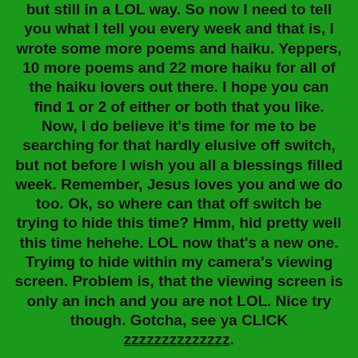but still in a LOL way.  So now I need to tell you what I tell you every week and that is,  I wrote some more poems and haiku.  Yeppers,  10 more poems and 22 more haiku for all of the haiku lovers out there.  I hope you can find 1 or 2 of either or both that you like.  Now,  I do believe it's time for me to be searching for that hardly elusive off switch,  but not before I wish you all a blessings filled week.  Remember,  Jesus loves you and we do too.  Ok,  so where can that off switch be trying to hide this time?    Hmm,  hid pretty well this time hehehe.  LOL now that's a new one.  Tryimg to hide within my camera's viewing screen.  Problem is,  that the viewing screen is only an inch and you are not LOL.  Nice try though.  Gotcha,  see ya CLICK zzzzzzzzzzzzzz.
God bless from Bill,  Judy,  Benny,  Rocky